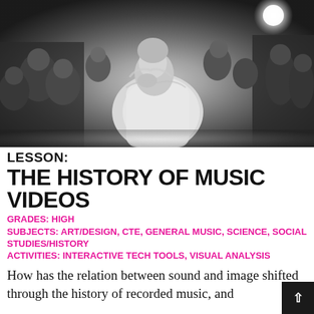[Figure (photo): Black and white photograph of a female performer in a white ruffled dress, posing with hand near face, surrounded by a crowd in a dark venue with a bright light visible in the background.]
LESSON:
THE HISTORY OF MUSIC VIDEOS
GRADES: HIGH
SUBJECTS: ART/DESIGN, CTE, GENERAL MUSIC, SCIENCE, SOCIAL STUDIES/HISTORY
ACTIVITIES: INTERACTIVE TECH TOOLS, VISUAL ANALYSIS
How has the relation between sound and image shifted through the history of recorded music, and